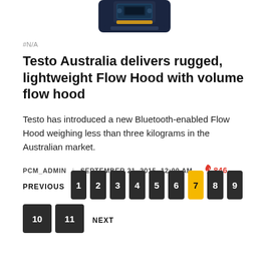[Figure (photo): Product photo of a Testo Flow Hood device, dark blue/black, shown from top, partially cropped at top of page]
#N/A
Testo Australia delivers rugged, lightweight Flow Hood with volume flow hood
Testo has introduced a new Bluetooth-enabled Flow Hood weighing less than three kilograms in the Australian market.
PCM_ADMIN | SEPTEMBER 21, 2015, 12:00 AM 🔥 846
PREVIOUS 1 2 3 4 5 6 7 8 9 10 11 NEXT